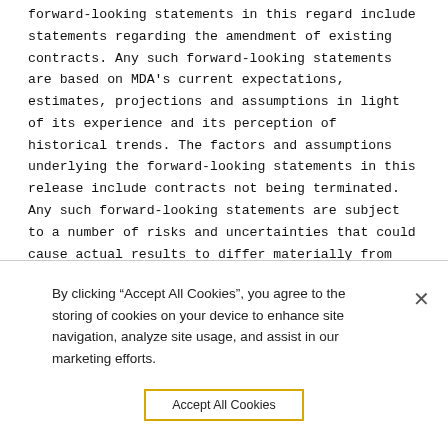forward-looking statements in this regard include statements regarding the amendment of existing contracts. Any such forward-looking statements are based on MDA's current expectations, estimates, projections and assumptions in light of its experience and its perception of historical trends. The factors and assumptions underlying the forward-looking statements in this release include contracts not being terminated. Any such forward-looking statements are subject to a number of risks and uncertainties that could cause actual results to differ materially from current expectations. MDA cautions readers that should certain risks or uncertainties materialize, or should underlying assumptions prove incorrect, actual results may vary significantly from those expected. The risks that could cause actual results to differ from current expectations include, but
By clicking "Accept All Cookies", you agree to the storing of cookies on your device to enhance site navigation, analyze site usage, and assist in our marketing efforts.
Accept All Cookies